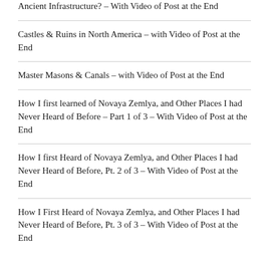Ancient Infrastructure? – With Video of Post at the End
Castles & Ruins in North America – with Video of Post at the End
Master Masons & Canals – with Video of Post at the End
How I first learned of Novaya Zemlya, and Other Places I had Never Heard of Before – Part 1 of 3 – With Video of Post at the End
How I first Heard of Novaya Zemlya, and Other Places I had Never Heard of Before, Pt. 2 of 3 – With Video of Post at the End
How I First Heard of Novaya Zemlya, and Other Places I had Never Heard of Before, Pt. 3 of 3 – With Video of Post at the End